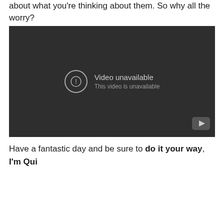about what you're thinking about them. So why all the worry?
[Figure (screenshot): Embedded YouTube video player showing 'Video unavailable — This video is unavailable' message on a dark background, with YouTube logo in bottom-right corner.]
Have a fantastic day and be sure to do it your way,
I'm Qui